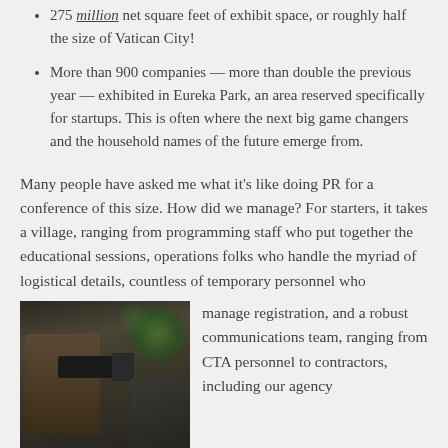275 million net square feet of exhibit space, or roughly half the size of Vatican City!
More than 900 companies — more than double the previous year — exhibited in Eureka Park, an area reserved specifically for startups. This is often where the next big game changers and the household names of the future emerge from.
Many people have asked me what it's like doing PR for a conference of this size. How did we manage? For starters, it takes a village, ranging from programming staff who put together the educational sessions, operations folks who handle the myriad of logistical details, countless of temporary personnel who manage registration, and a robust communications team, ranging from CTA personnel to contractors, including our agency
[Figure (photo): A person in dark clothing using a camera or video equipment at what appears to be a conference or event, with green decorative lights visible in the background.]